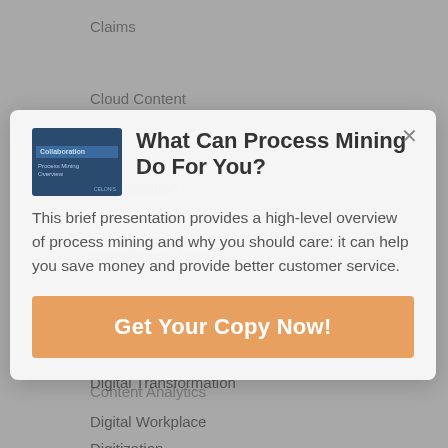Claims
Cloud Content
Collaboration
Compliance, Privacy
Consulting
Content Analytics
Content Cleanup
Customer Communications Management
Digital Transformation
Digital Workplace
Digitization
[Figure (screenshot): Thumbnail of Process Mining Overview presentation with dark blue background]
What Can Process Mining Do For You?
This brief presentation provides a high-level overview of process mining and why you should care: it can help you save money and provide better customer service.
Get Your Copy Now!